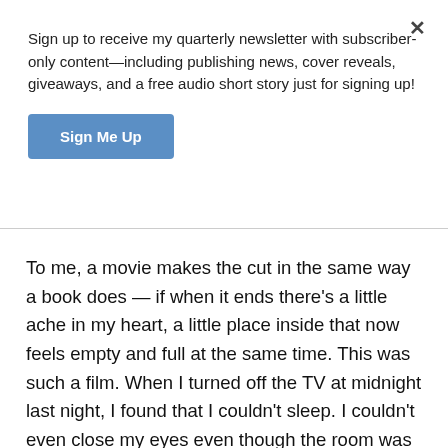Sign up to receive my quarterly newsletter with subscriber-only content—including publishing news, cover reveals, giveaways, and a free audio short story just for signing up!
Sign Me Up
To me, a movie makes the cut in the same way a book does — if when it ends there's a little ache in my heart, a little place inside that now feels empty and full at the same time. This was such a film. When I turned off the TV at midnight last night, I found that I couldn't sleep. I couldn't even close my eyes even though the room was dark, I was in bed, and it was certainly time to retire for the night.
If you're a fan of Jane Austen's novels or of their film adaptations, you should pop over to Netflix and